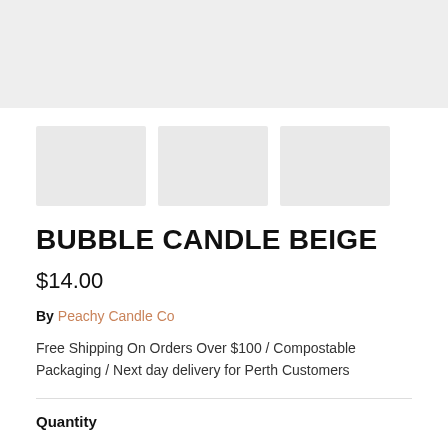[Figure (photo): Gray banner area at top of page representing a product image placeholder]
[Figure (photo): Three small gray thumbnail image placeholders in a row]
BUBBLE CANDLE BEIGE
$14.00
By Peachy Candle Co
Free Shipping On Orders Over $100 / Compostable Packaging / Next day delivery for Perth Customers
Quantity